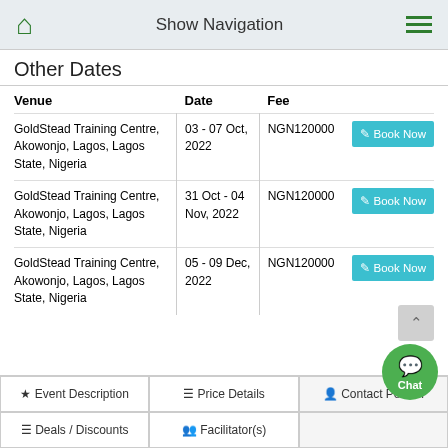Show Navigation
Other Dates
| Venue | Date | Fee |  |
| --- | --- | --- | --- |
| GoldStead Training Centre, Akowonjo, Lagos, Lagos State, Nigeria | 03 - 07 Oct, 2022 | NGN120000 | Book Now |
| GoldStead Training Centre, Akowonjo, Lagos, Lagos State, Nigeria | 31 Oct - 04 Nov, 2022 | NGN120000 | Book Now |
| GoldStead Training Centre, Akowonjo, Lagos, Lagos State, Nigeria | 05 - 09 Dec, 2022 | NGN120000 | Book Now |
Event Description
Price Details
Contact Person
Deals / Discounts
Facilitator(s)